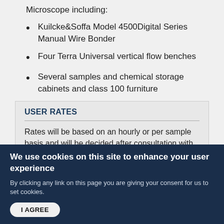Microscope including:
Kuilcke&Soffa Model 4500Digital Series Manual Wire Bonder
Four Terra Universal vertical flow benches
Several samples and chemical storage cabinets and class 100 furniture
USER RATES
Rates will be based on an hourly or per sample basis and will be decided after consultation with the customer.
We use cookies on this site to enhance your user experience
By clicking any link on this page you are giving your consent for us to set cookies.
I AGREE